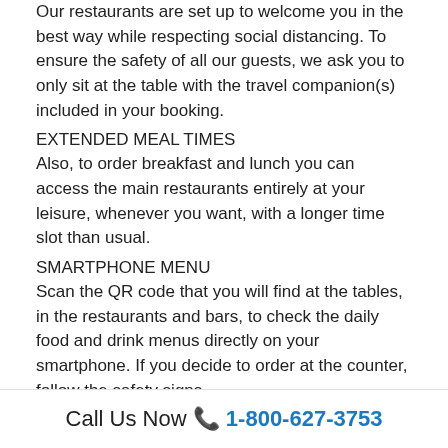Our restaurants are set up to welcome you in the best way while respecting social distancing. To ensure the safety of all our guests, we ask you to only sit at the table with the travel companion(s) included in your booking.
EXTENDED MEAL TIMES
Also, to order breakfast and lunch you can access the main restaurants entirely at your leisure, whenever you want, with a longer time slot than usual.
SMARTPHONE MENU
Scan the QR code that you will find at the tables, in the restaurants and bars, to check the daily food and drink menus directly on your smartphone. If you decide to order at the counter, follow the safety signs.
6. NON-STOP FUN
A WHOLE NEW ENTERTAINMENT
Enjoy the new forms of entertainment we have designed, with shows repeated several times during the week, and allow everyone to have fun at the same time, while still respecting social
Call Us Now 📞 1-800-627-3753